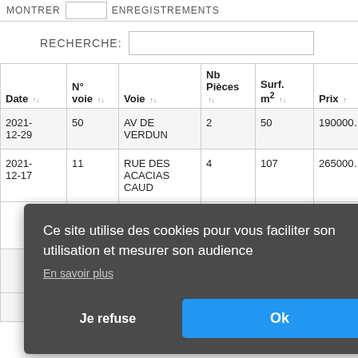RECHERCHE:
| Date | N° voie | Voie | Nb Pièces | Surf. m² | Prix |
| --- | --- | --- | --- | --- | --- |
| 2021-12-29 | 50 | AV DE VERDUN | 2 | 50 | 190000… |
| 2021-12-17 | 11 | RUE DES ACACIAS CAUD | 4 | 107 | 265000… |
| … | … | … | … | … | 165000… |
| … | … | … | … | … | 580000… |
| … | … | CAUD | … | … | … |
Ce site utilise des cookies pour vous faciliter son utilisation et mesurer son audience
En savoir plus
Je refuse
Ok